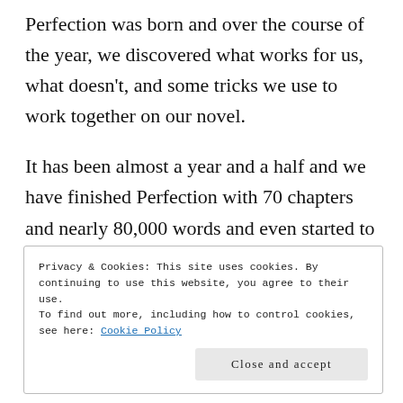Perfection was born and over the course of the year, we discovered what works for us, what doesn't, and some tricks we use to work together on our novel.
It has been almost a year and a half and we have finished Perfection with 70 chapters and nearly 80,000 words and even started to work on the sequel, Destruction.
Privacy & Cookies: This site uses cookies. By continuing to use this website, you agree to their use.
To find out more, including how to control cookies, see here: Cookie Policy